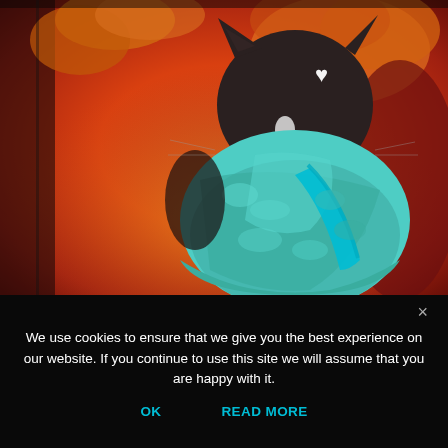[Figure (illustration): Digital painting illustration of a dark/black cat wearing a teal/turquoise fluffy sweater or blanket wrap, viewed from behind. The background is painted in warm red and orange tones with impressionistic brushstrokes. A small white heart symbol is visible in the upper right area of the image.]
We use cookies to ensure that we give you the best experience on our website. If you continue to use this site we will assume that you are happy with it.
OK    READ MORE